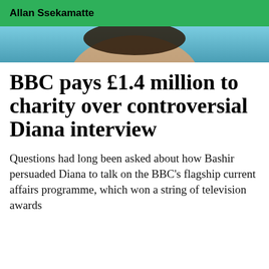Allan Ssekamatte
[Figure (photo): Cropped photo showing top of a person's head against a light blue/teal background]
BBC pays £1.4 million to charity over controversial Diana interview
Questions had long been asked about how Bashir persuaded Diana to talk on the BBC's flagship current affairs programme, which won a string of television awards
World  17 hours ago
We use cookies to improve your experience on our site and to show you relevant advertising. To find out more, read our updated Privacy policy